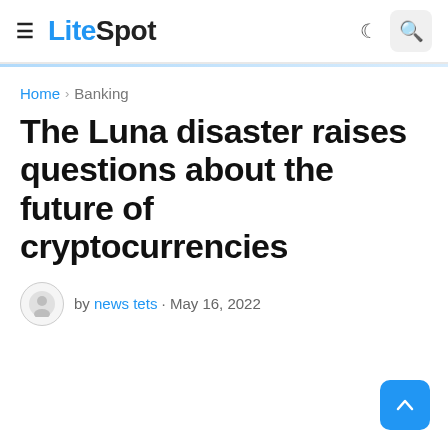≡ LiteSpot
Home › Banking
The Luna disaster raises questions about the future of cryptocurrencies
by news tets · May 16, 2022